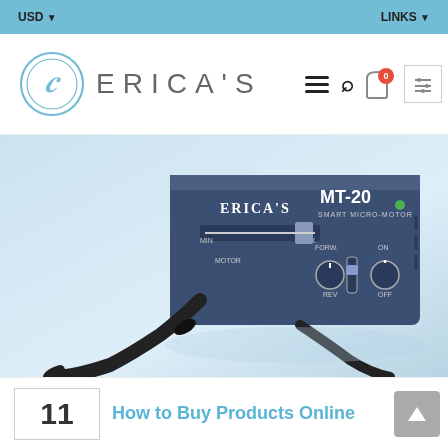USD ▼   LINKS ▼
[Figure (logo): Erica's logo — circular E monogram with ERICA'S text]
[Figure (photo): Erica's MT-20 Smart Micro-Motor device on a light blue background, with black cable attached]
11
How to Buy Products Online